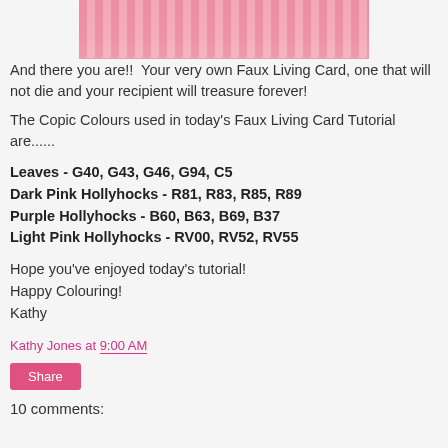[Figure (photo): Top portion of a decorative pink card image, cropped at the top of the page]
And there you are!!  Your very own Faux Living Card, one that will not die and your recipient will treasure forever!
The Copic Colours used in today's Faux Living Card Tutorial are......
Leaves - G40, G43, G46, G94, C5
Dark Pink Hollyhocks - R81, R83, R85, R89
Purple Hollyhocks - B60, B63, B69, B37
Light Pink Hollyhocks - RV00, RV52, RV55
Hope you've enjoyed today's tutorial!
Happy Colouring!
Kathy
Kathy Jones at 9:00 AM
Share
10 comments: